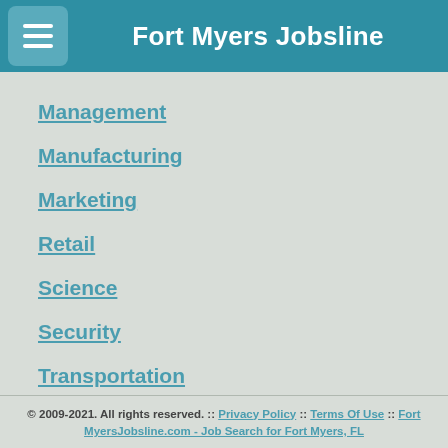Fort Myers Jobsline
Management
Manufacturing
Marketing
Retail
Science
Security
Transportation
© 2009-2021. All rights reserved. :: Privacy Policy :: Terms Of Use :: Fort MyersJobsline.com - Job Search for Fort Myers, FL